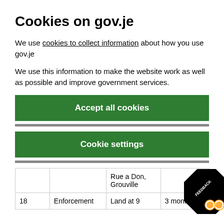Cookies on gov.je
We use cookies to collect information about how you use gov.je
We use this information to make the website work as well as possible and improve government services.
Accept all cookies
Cookie settings
|  |  |  |  |
| --- | --- | --- | --- |
|  |  | Rue a Don, Grouville |  |
| 18 | Enforcement | Land at 9 | 3 mont |